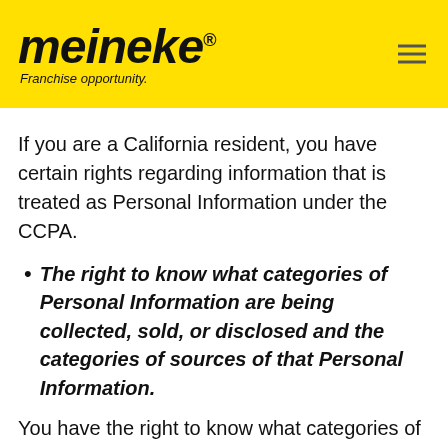meineke® Franchise opportunity.
If you are a California resident, you have certain rights regarding information that is treated as Personal Information under the CCPA.
The right to know what categories of Personal Information are being collected, sold, or disclosed and the categories of sources of that Personal Information.
You have the right to know what categories of Personal Information we collect, sell, or disclose about you, as well as the categories of